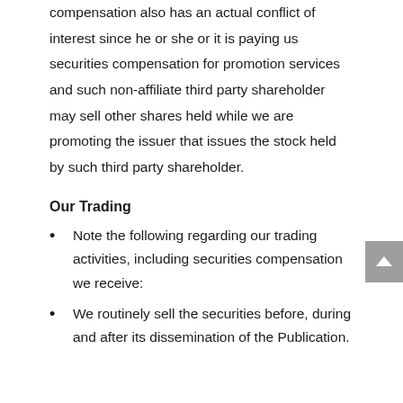third party shareholder from which we receive compensation also has an actual conflict of interest since he or she or it is paying us securities compensation for promotion services and such non-affiliate third party shareholder may sell other shares held while we are promoting the issuer that issues the stock held by such third party shareholder.
Our Trading
Note the following regarding our trading activities, including securities compensation we receive:
We routinely sell the securities before, during and after its dissemination of the Publication.